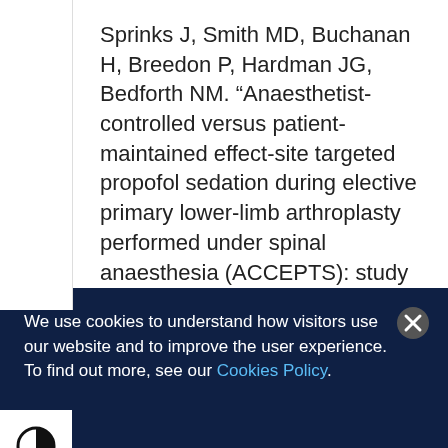Sprinks J, Smith MD, Buchanan H, Breedon P, Hardman JG, Bedforth NM. “Anaesthetist-controlled versus patient-maintained effect-site targeted propofol sedation during elective primary lower-limb arthroplasty performed under spinal anaesthesia (ACCEPTS): study protocol for
We use cookies to understand how visitors use our website and to improve the user experience. To find out more, see our Cookies Policy.